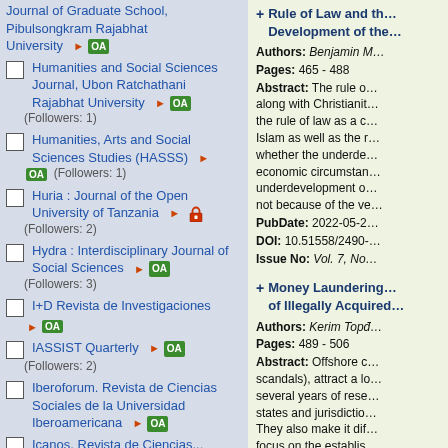Journal of Graduate School, Pibulsongkram Rajabhat University [OA]
Humanities and Social Sciences Journal, Ubon Ratchathani Rajabhat University [OA] (Followers: 1)
Humanities, Arts and Social Sciences Studies (HASSS) [OA] (Followers: 1)
Huria : Journal of the Open University of Tanzania [locked] (Followers: 2)
Hydra : Interdisciplinary Journal of Social Sciences [OA] (Followers: 3)
I+D Revista de Investigaciones [OA]
IASSIST Quarterly [OA] (Followers: 2)
Iberoforum. Revista de Ciencias Sociales de la Universidad Iberoamericana [OA]
Icanos. Revista de Ciencias... [truncated]
Rule of Law and the... Development of the...
Authors: Benjamin M... Pages: 465 - 488 Abstract: The rule of... along with Christianity... the rule of law as a c... Islam as well as the r... whether the underde... economic circumstan... underdevelopment o... not because of the ve... PubDate: 2022-05-2... DOI: 10.51558/2490-... Issue No: Vol. 7, No.
Money Laundering... of Illegally Acquired...
Authors: Kerim Topd... Pages: 489 - 506 Abstract: Offshore c... scandals), attract a lo... several years of rese... states and jurisdictio... They also make it dif... focus on the establis... attract an increasing... economy and state...